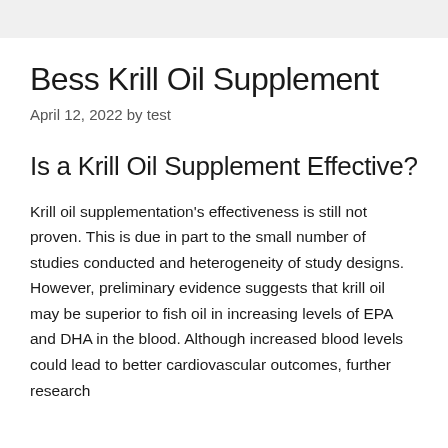Bess Krill Oil Supplement
April 12, 2022 by test
Is a Krill Oil Supplement Effective?
Krill oil supplementation's effectiveness is still not proven. This is due in part to the small number of studies conducted and heterogeneity of study designs. However, preliminary evidence suggests that krill oil may be superior to fish oil in increasing levels of EPA and DHA in the blood. Although increased blood levels could lead to better cardiovascular outcomes, further research